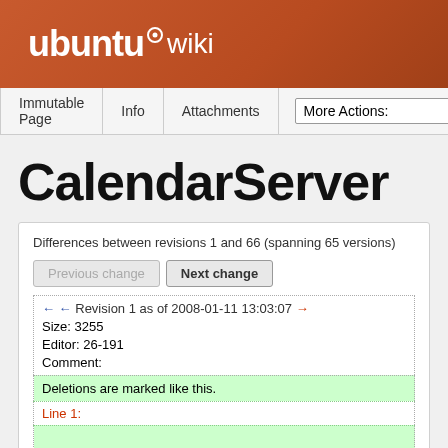ubuntu® wiki
Immutable Page | Info | Attachments | More Actions:
CalendarServer
Differences between revisions 1 and 66 (spanning 65 versions)
← ← Revision 1 as of 2008-01-11 13:03:07 →
Size: 3255
Editor: 26-191
Comment:
Deletions are marked like this.
Line 1: